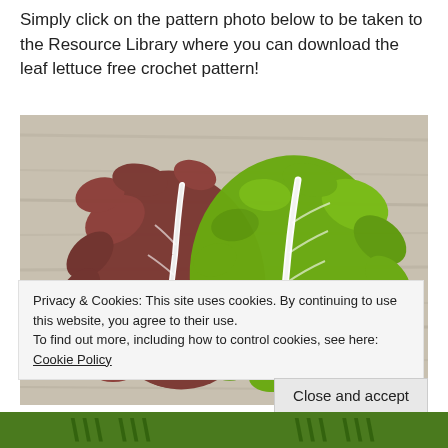Simply click on the pattern photo below to be taken to the Resource Library where you can download the leaf lettuce free crochet pattern!
[Figure (photo): Two crocheted leaf lettuce pieces on a wooden surface — one dark brownish-red and one bright green, each with a white rib down the center, resembling lettuce leaves.]
Privacy & Cookies: This site uses cookies. By continuing to use this website, you agree to their use.
To find out more, including how to control cookies, see here: Cookie Policy
Close and accept